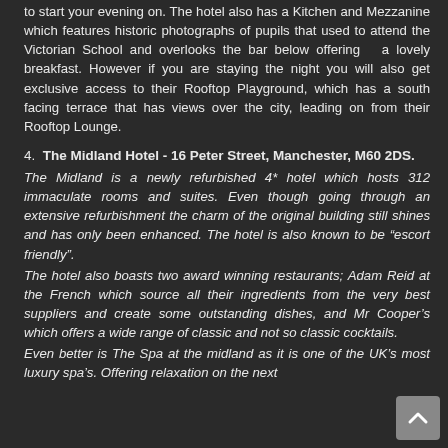to start your evening on. The hotel also has a Kitchen and Mezzanine which features historic photographs of pupils that used to attend the Victorian School and overlooks the bar below offering   a lovely breakfast. However if you are staying the night you will also get exclusive access to their Rooftop Playground, which has a south facing terrace that has views over the city, leading on from their Rooftop Lounge.
4.  The Midland Hotel - 16 Peter Street, Manchester, M60 2DS.
The Midland is a newly refurbished 4* hotel which hosts 312 immaculate rooms and suites. Even though going through an extensive refurbishment the charm of the original building still shines and has only been enhanced. The hotel is also known to be "escort friendly".
The hotel also boasts two award winning restaurants; Adam Reid at the French which source all their ingredients from the very best suppliers and create some outstanding dishes, and Mr Cooper's which offers a wide range of classic and not so classic cocktails.
Even better is The Spa at the midland as it is one of the UK's most luxury spa's. Offering relaxation on the next